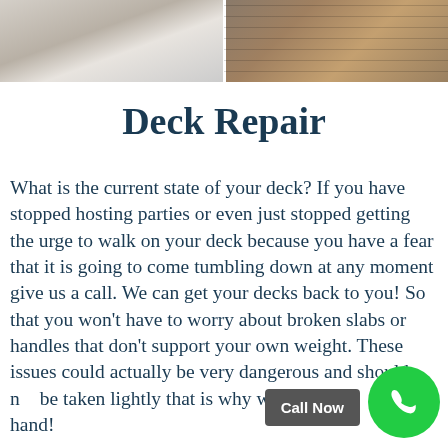[Figure (photo): Two side-by-side photos at top: left shows light-colored deck boards/panels, right shows wooden deck construction material]
Deck Repair
What is the current state of your deck? If you have stopped hosting parties or even just stopped getting the urge to walk on your deck because you have a fear that it is going to come tumbling down at any moment give us a call. We can get your decks back to you! So that you won’t have to worry about broken slabs or handles that don’t support your own weight. These issues could actually be very dangerous and should not be taken lightly that is why we want to lend you a hand!